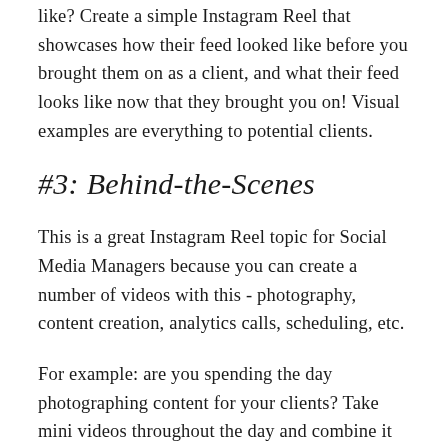like? Create a simple Instagram Reel that showcases how their feed looked like before you brought them on as a client, and what their feed looks like now that they brought you on! Visual examples are everything to potential clients.
#3: Behind-the-Scenes
This is a great Instagram Reel topic for Social Media Managers because you can create a number of videos with this - photography, content creation, analytics calls, scheduling, etc.
For example: are you spending the day photographing content for your clients? Take mini videos throughout the day and combine it into a short